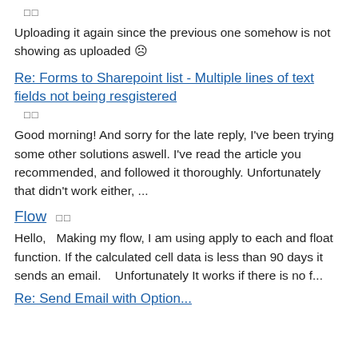□□
Uploading it again since the previous one somehow is not showing as uploaded ☹
Re: Forms to Sharepoint list - Multiple lines of text fields not being resgistered
□□
Good morning! And sorry for the late reply, I've been trying some other solutions aswell. I've read the article you recommended, and followed it thoroughly. Unfortunately that didn't work either, ...
Flow □□
Hello,   Making my flow, I am using apply to each and float function. If the calculated cell data is less than 90 days it sends an email.    Unfortunately It works if there is no f...
Re: Send Email with Option...